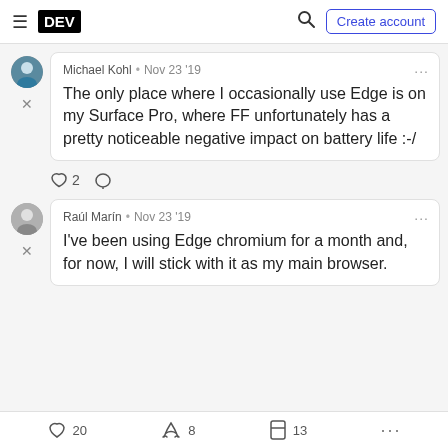DEV — Create account
Michael Kohl · Nov 23 '19 — The only place where I occasionally use Edge is on my Surface Pro, where FF unfortunately has a pretty noticeable negative impact on battery life :-/
♡ 2  ○
Raúl Marín · Nov 23 '19 — I've been using Edge chromium for a month and, for now, I will stick with it as my main browser.
♡ 20  🔥 8  □ 13  ...